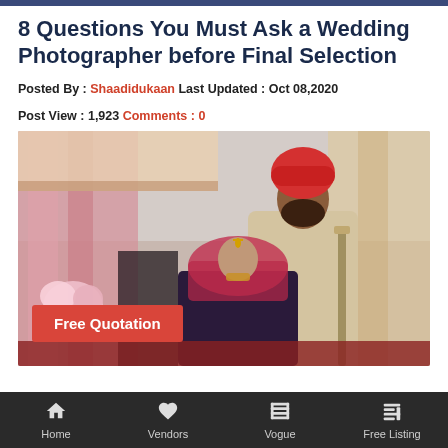8 Questions You Must Ask a Wedding Photographer before Final Selection
Posted By : Shaadidukaan Last Updated : Oct 08,2020
Post View : 1,923 Comments : 0
[Figure (photo): Indian wedding couple photo — groom in cream sherwani with red turban holding a sword, bride in dark outfit with dupatta and bridal jewelry, floral and drape backdrop. Button overlay: Free Quotation]
Home  Vendors  Vogue  Free Listing